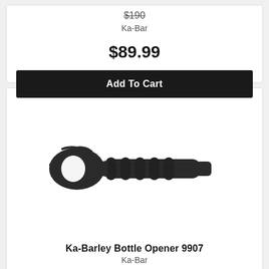$190
Ka-Bar
$89.99
Add To Cart
[Figure (photo): Ka-Barley Bottle Opener 9907 — a black tactical bottle opener with a segmented grip handle and a rounded bottle-opener head on the left side, photographed on white background]
Ka-Barley Bottle Opener 9907
Ka-Bar